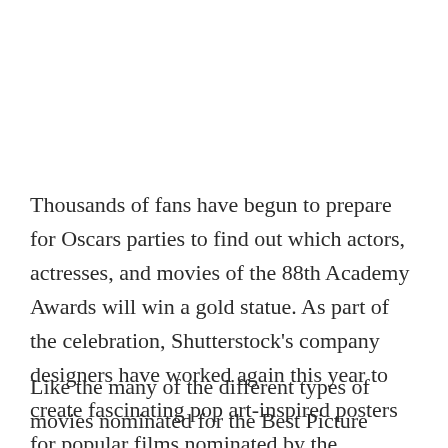Thousands of fans have begun to prepare for Oscars parties to find out which actors, actresses, and movies of the 88th Academy Awards will win a gold statue. As part of the celebration, Shutterstock's company designers have worked again this year to create fascinating pop art-inspired posters for popular films nominated by the Academy.
Like the many of the different types of movies nominated for the Best Picture award, Shutterstock says its posters share a theme of endurance and testing how far you can